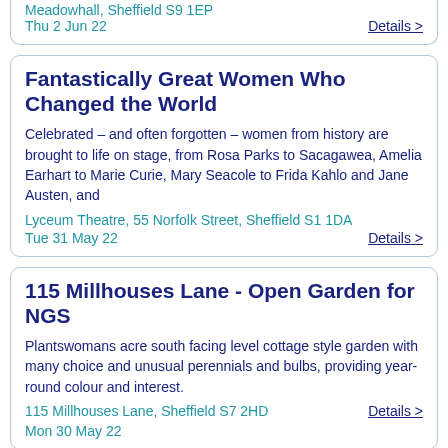Meadowhall, Sheffield S9 1EP
Thu 2 Jun 22
Details >
Fantastically Great Women Who Changed the World
Celebrated – and often forgotten – women from history are brought to life on stage, from Rosa Parks to Sacagawea, Amelia Earhart to Marie Curie, Mary Seacole to Frida Kahlo and Jane Austen, and
Lyceum Theatre, 55 Norfolk Street, Sheffield S1 1DA
Tue 31 May 22
Details >
115 Millhouses Lane - Open Garden for NGS
Plantswomans acre south facing level cottage style garden with many choice and unusual perennials and bulbs, providing year-round colour and interest.
115 Millhouses Lane, Sheffield S7 2HD
Mon 30 May 22
Details >
Firvale Perennial Garden - Open Garden for NGS
Interesting and unusual large allotment with 13 island beds displaying 500+ herbaceous perennials including the National Collection of hardy euphorbias with over 100